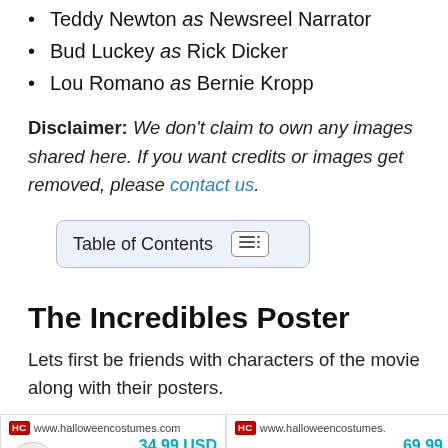Teddy Newton as Newsreel Narrator
Bud Luckey as Rick Dicker
Lou Romano as Bernie Kropp
Disclaimer: We don't claim to own any images shared here. If you want credits or images get removed, please contact us.
Table of Contents
The Incredibles Poster
Lets first be friends with characters of the movie along with their posters.
[Figure (screenshot): Two product cards from halloweencostumes.com showing prices 34.99 USD and 69.99 with See offer buttons]